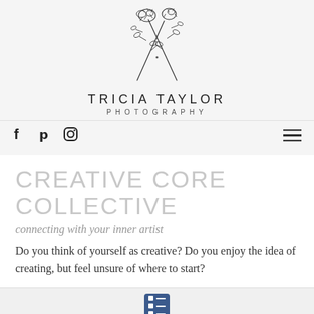[Figure (illustration): Two crossed wildflower/botanical stems with floral heads forming an X shape, hand-drawn ink illustration serving as a logo mark for Tricia Taylor Photography]
TRICIA TAYLOR PHOTOGRAPHY
[Figure (infographic): Social media navigation bar with Facebook (f), Pinterest (p), Instagram (circle camera) icons on the left, and a hamburger menu (three horizontal lines) on the right]
CREATIVE CORE COLLECTIVE
connecting with your inner artist
Do you think of yourself as creative? Do you enjoy the idea of creating, but feel unsure of where to start?
[Figure (screenshot): Footer bar with a dark blue list/menu icon (two horizontal lines with dots) centered on a light gray background]